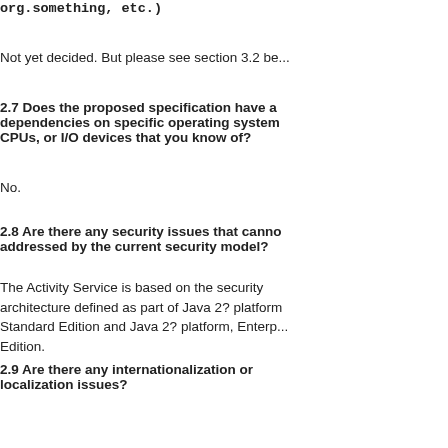org.something, etc.)
Not yet decided. But please see section 3.2 be...
2.7 Does the proposed specification have any dependencies on specific operating systems, CPUs, or I/O devices that you know of?
No.
2.8 Are there any security issues that cannot be addressed by the current security model?
The Activity Service is based on the security architecture defined as part of Java 2? platform, Standard Edition and Java 2? platform, Enterprise Edition.
2.9 Are there any internationalization or localization issues?
No localization issues; where internationalization is concerned, the Activity Service use the I18N support in the Java 2? platform, Standard Edition.
2.10 Are there any existing specifications that might be rendered obsolete, deprecated, or in need of revision as a result of this work?